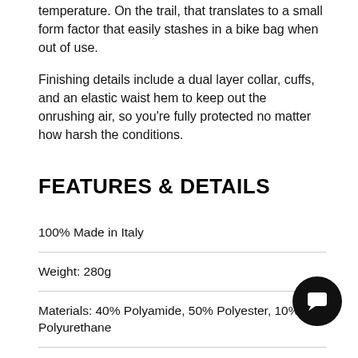temperature. On the trail, that translates to a small form factor that easily stashes in a bike bag when out of use.
Finishing details include a dual layer collar, cuffs, and an elastic waist hem to keep out the onrushing air, so you're fully protected no matter how harsh the conditions.
FEATURES & DETAILS
100% Made in Italy
Weight: 280g
Materials: 40% Polyamide, 50% Polyester, 10% Polyurethane
Three-layer waterproof protection
UF Air Thermal insulation